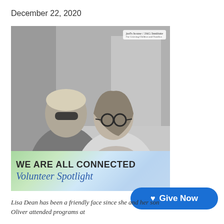December 22, 2020
[Figure (photo): Black and white photo of two people — a young man on the left wearing sunglasses and a puffer jacket, and a woman on the right wearing sunglasses and a light puffer jacket — both smiling. The Jud's House / JAG Institute logo appears in the upper right of the photo. A banner at the bottom reads 'WE ARE ALL CONNECTED' in bold text and 'Volunteer Spotlight' in blue cursive script, over a green/blue swirling background.]
Lisa Dean has been a friendly face since she and her son Oliver attended programs at